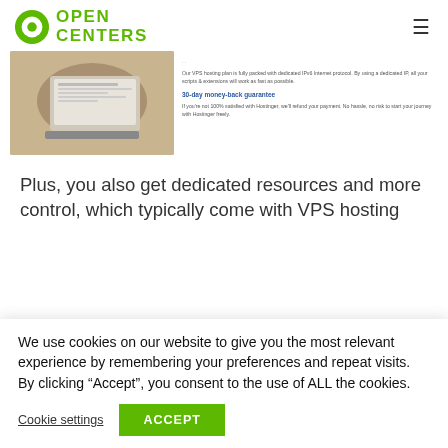Open Centers
[Figure (screenshot): Screenshot of a website with a photo of a person using a laptop on the left, and text content on the right including a section about 30-day money-back guarantee]
Plus, you also get dedicated resources and more control, which typically come with VPS hosting
We use cookies on our website to give you the most relevant experience by remembering your preferences and repeat visits. By clicking “Accept”, you consent to the use of ALL the cookies.
Cookie settings
ACCEPT